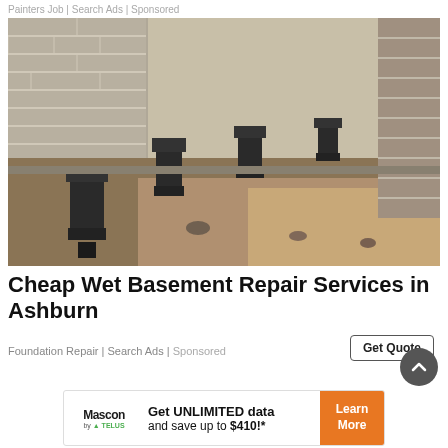Painters Job | Search Ads | Sponsored
[Figure (photo): Construction photo showing a foundation repair site: a deep trench dug along a brick wall with several black metal support piers/jacks installed along the base of the wall.]
Cheap Wet Basement Repair Services in Ashburn
Foundation Repair | Search Ads | Sponsored
[Figure (other): Mascon by TELUS banner ad: Get UNLIMITED data and save up to $410!* with a Learn More button]